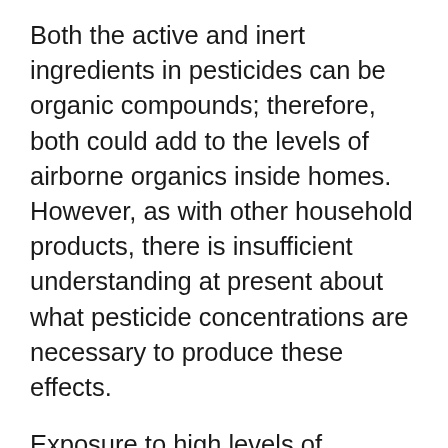Both the active and inert ingredients in pesticides can be organic compounds; therefore, both could add to the levels of airborne organics inside homes. However, as with other household products, there is insufficient understanding at present about what pesticide concentrations are necessary to produce these effects.
Exposure to high levels of cyclodiene pesticides, commonly associated with misapplication, has produced various symptoms, including headaches, dizziness, muscle twitching, weakness, tingling sensations, and nausea. In addition, EPA is concerned that cyclodienes might cause long-term damage to the liver and the